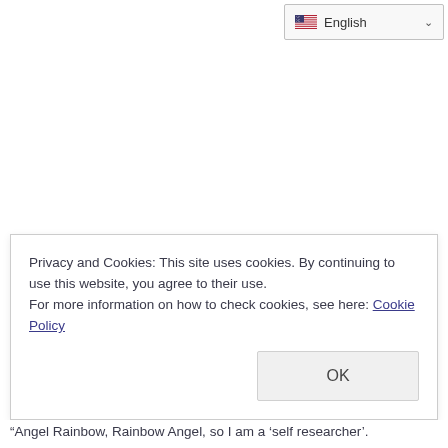[Figure (other): Language selector dropdown showing US flag and 'English' with a chevron arrow]
Privacy and Cookies: This site uses cookies. By continuing to use this website, you agree to their use.
For more information on how to check cookies, see here: Cookie Policy
“Angel Rainbow, Rainbow Angel, so I am a ‘self researcher’.